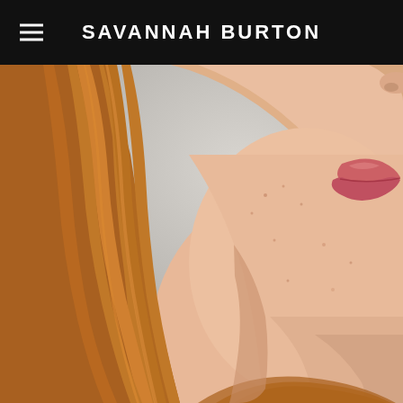SAVANNAH BURTON
[Figure (photo): Close-up portrait photo of a woman with long red hair, fair freckled skin, and pink lips, shown from the shoulders up against a light gray background. The face is shown in partial profile, with the jaw, neck, and lower face visible.]